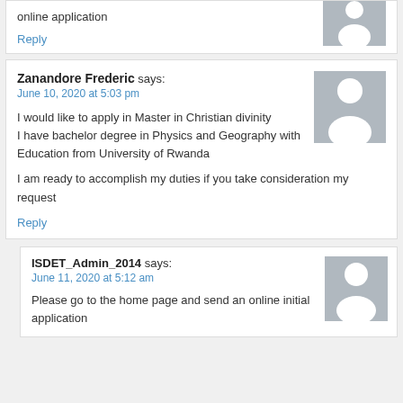online application
Reply
Zanandore Frederic says:
June 10, 2020 at 5:03 pm
I would like to apply in Master in Christian divinity
I have bachelor degree in Physics and Geography with Education from University of Rwanda

I am ready to accomplish my duties if you take consideration my request
Reply
ISDET_Admin_2014 says:
June 11, 2020 at 5:12 am
Please go to the home page and send an online initial application